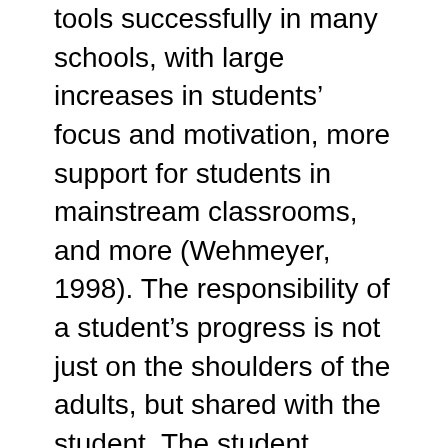tools successfully in many schools, with large increases in students' focus and motivation, more support for students in mainstream classrooms, and more (Wehmeyer, 1998). The responsibility of a student's progress is not just on the shoulders of the adults, but shared with the student. The student becomes eager to track his progress in specific IEP objectives, such as reading speed and accuracy, sentence writing and paragraph skills, math fact fluency, self-control behaviors and self-advocacy (Koegel & Kern-Koegel, 1995).
The student-driven IEP is a written document that has been historically used with developmentally disabled students. However, according to Michael Wehmeyer's 1998 Making It Happen: Student